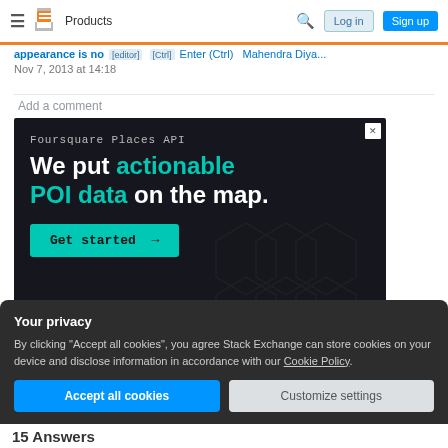Products | Log in | Sign up
appearance is no Enter (Ctrl) | Mahendra Diya
Nov 7, 2013 at 14:18
Add a comment
[Figure (screenshot): Advertisement for Foursquare Places API on dark background. Text reads: 'Foursquare Places API — We put actionable POI data on the map.' with a teal 'Get started →' button.]
Your privacy
By clicking "Accept all cookies", you agree Stack Exchange can store cookies on your device and disclose information in accordance with our Cookie Policy.
Accept all cookies  Customize settings
15 Answers